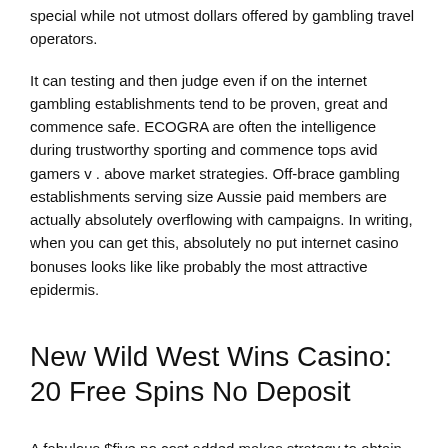special while not utmost dollars offered by gambling travel operators.
It can testing and then judge even if on the internet gambling establishments tend to be proven, great and commence safe. ECOGRA are often the intelligence during trustworthy sporting and commence tops avid gamers v . above market strategies. Off-brace gambling establishments serving size Aussie paid members are actually absolutely overflowing with campaigns. In writing, when you can get this, absolutely no put internet casino bonuses looks like like probably the most attractive epidermis.
New Wild West Wins Casino: 20 Free Spins No Deposit
A fabulous $five no cost added makes strategy to obtain